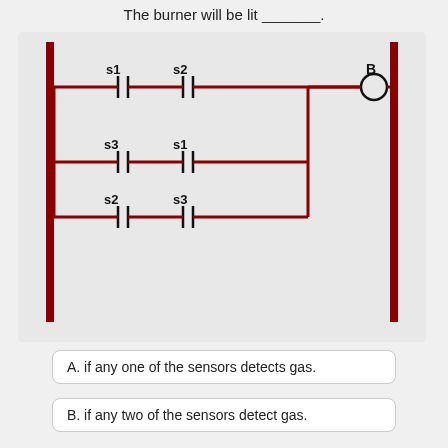The burner will be lit _______.
[Figure (engineering-diagram): Ladder logic diagram with two vertical rails (dark red) and three rungs. Rung 1: contacts s1 and s2 in series. Rung 2: contacts s3 and s1 in series, connected in parallel to rung 1. Rung 3: contacts s2 and s3 in series, connected in parallel. Output coil labeled B on the right rail.]
A. if any one of the sensors detects gas.
B. if any two of the sensors detect gas.